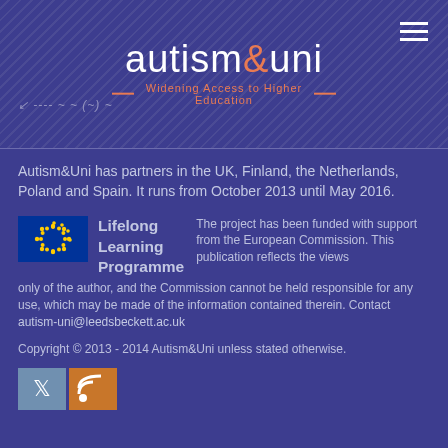[Figure (logo): autism&uni logo with 'Widening Access to Higher Education' subtitle and hamburger menu icon]
Autism&Uni has partners in the UK, Finland, the Netherlands, Poland and Spain. It runs from October 2013 until May 2016.
[Figure (logo): EU Lifelong Learning Programme logo with EU flag stars on blue background]
The project has been funded with support from the European Commission. This publication reflects the views only of the author, and the Commission cannot be held responsible for any use, which may be made of the information contained therein. Contact autism-uni@leedsbeckett.ac.uk
Copyright © 2013 - 2014 Autism&Uni unless stated otherwise.
[Figure (logo): Twitter and RSS feed social media icons]